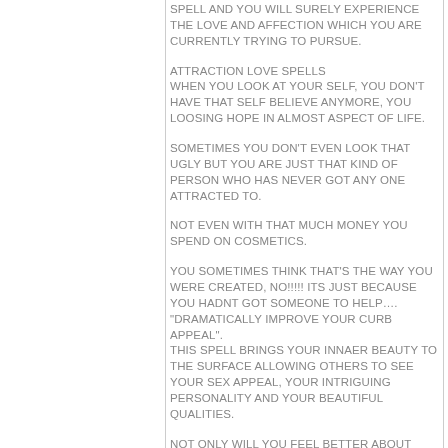SPELL AND YOU WILL SURELY EXPERIENCE THE LOVE AND AFFECTION WHICH YOU ARE CURRENTLY TRYING TO PURSUE.
ATTRACTION LOVE SPELLS
WHEN YOU LOOK AT YOUR SELF, YOU DON'T HAVE THAT SELF BELIEVE ANYMORE, YOU LOOSING HOPE IN ALMOST ASPECT OF LIFE.
SOMETIMES YOU DON'T EVEN LOOK THAT UGLY BUT YOU ARE JUST THAT KIND OF PERSON WHO HAS NEVER GOT ANY ONE ATTRACTED TO.
NOT EVEN WITH THAT MUCH MONEY YOU SPEND ON COSMETICS.
YOU SOMETIMES THINK THAT'S THE WAY YOU WERE CREATED, NO!!!!! ITS JUST BECAUSE YOU HADNT GOT SOMEONE TO HELP….
"DRAMATICALLY IMPROVE YOUR CURB APPEAL".
THIS SPELL BRINGS YOUR INNAER BEAUTY TO THE SURFACE ALLOWING OTHERS TO SEE YOUR SEX APPEAL, YOUR INTRIGUING PERSONALITY AND YOUR BEAUTIFUL QUALITIES.
NOT ONLY WILL YOU FEEL BETTER ABOUT YOURSELF, BUT WHEN STARES AND COMPLIMENTS COME YOUR WAY...